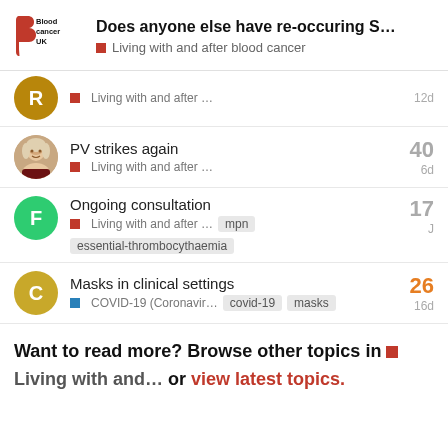Does anyone else have re-occuring S… | Living with and after blood cancer
Living with and after … — 12d
PV strikes again — Living with and after … — 40 — 6d
Ongoing consultation — Living with and after … — mpn — essential-thrombocythaemia — 17 — J
Masks in clinical settings — COVID-19 (Coronavir… — covid-19 — masks — 26 — 16d
Want to read more? Browse other topics in Living with and… or view latest topics.